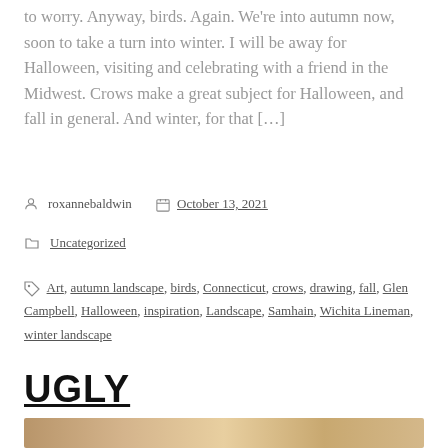to worry. Anyway, birds. Again. We're into autumn now, soon to take a turn into winter. I will be away for Halloween, visiting and celebrating with a friend in the Midwest. Crows make a great subject for Halloween, and fall in general. And winter, for that […]
Post author: roxannebaldwin   Date: October 13, 2021
Category: Uncategorized
Tags: Art, autumn landscape, birds, Connecticut, crows, drawing, fall, Glen Campbell, Halloween, inspiration, Landscape, Samhain, Wichita Lineman, winter landscape
UGLY